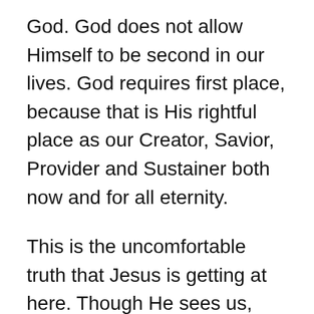God. God does not allow Himself to be second in our lives. God requires first place, because that is His rightful place as our Creator, Savior, Provider and Sustainer both now and for all eternity.
This is the uncomfortable truth that Jesus is getting at here. Though He sees us, though He knows us, though He loves us, Jesus asks us to lay down this earthly life to follow Him.
Jesus would not let his rich position in